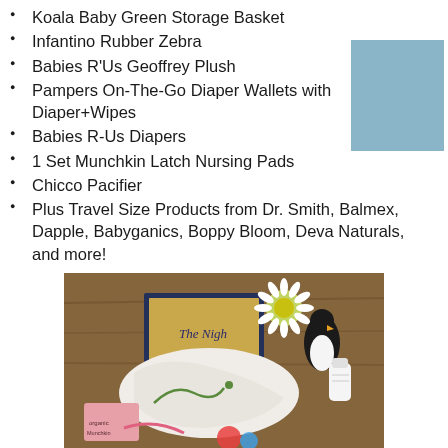Koala Baby Green Storage Basket
Infantino Rubber Zebra
Babies R'Us Geoffrey Plush
Pampers On-The-Go Diaper Wallets with Diaper+Wipes
Babies R-Us Diapers
1 Set Munchkin Latch Nursing Pads
Chicco Pacifier
Plus Travel Size Products from Dr. Smith, Balmex, Dapple, Babyganics, Boppy Bloom, Deva Naturals, and more!
[Figure (photo): Photo of baby products including a book titled 'The Night...', a white daisy flower, small bottles and organic products arranged together on a wooden surface]